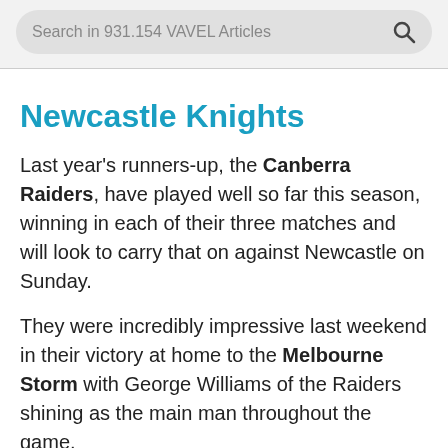Search in 931.154 VAVEL Articles
Newcastle Knights
Last year's runners-up, the Canberra Raiders, have played well so far this season, winning in each of their three matches and will look to carry that on against Newcastle on Sunday.
They were incredibly impressive last weekend in their victory at home to the Melbourne Storm with George Williams of the Raiders shining as the main man throughout the game.
The Knights, however, are also unbeaten having won two matches, and drawn another.